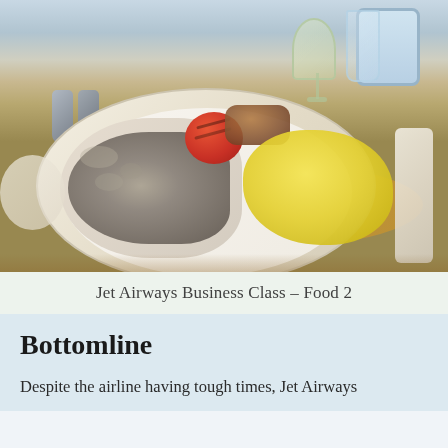[Figure (photo): Photograph of Jet Airways business class food tray with mushroom dish, omelette, grilled tomato, and beverages on an airplane tray table]
Jet Airways Business Class – Food 2
Bottomline
Despite the airline having tough times, Jet Airways